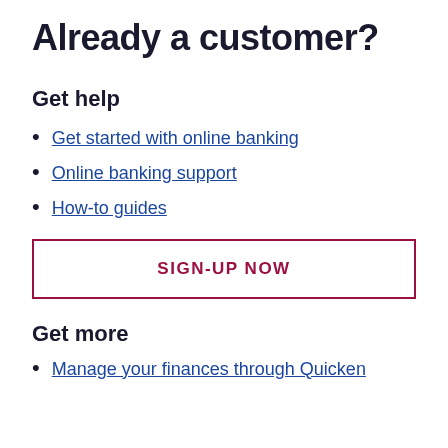Already a customer?
Get help
Get started with online banking
Online banking support
How-to guides
SIGN-UP NOW
Get more
Manage your finances through Quicken